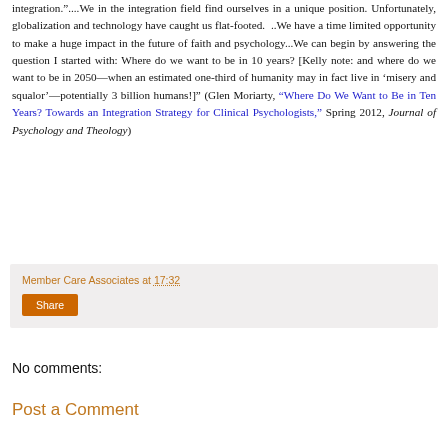integration."....We in the integration field find ourselves in a unique position. Unfortunately, globalization and technology have caught us flat-footed.  ..We have a time limited opportunity to make a huge impact in the future of faith and psychology...We can begin by answering the question I started with: Where do we want to be in 10 years? [Kelly note: and where do we want to be in 2050—when an estimated one-third of humanity may in fact live in 'misery and squalor'—potentially 3 billion humans!]" (Glen Moriarty, “Where Do We Want to Be in Ten Years? Towards an Integration Strategy for Clinical Psychologists,” Spring 2012, Journal of Psychology and Theology)
Member Care Associates at 17:32
Share
No comments:
Post a Comment